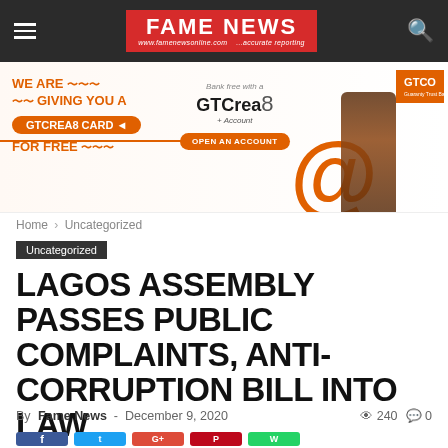FAME NEWS — www.famenewsonline.com ...accurate reporting
[Figure (illustration): GTCrea8 CARD advertisement banner — orange and white promotional ad for GTBank GTCrea8 account with person and percent symbol]
Home › Uncategorized
Uncategorized
LAGOS ASSEMBLY PASSES PUBLIC COMPLAINTS, ANTI-CORRUPTION BILL INTO LAW
By Fame News - December 9, 2020  👁 240  💬 0